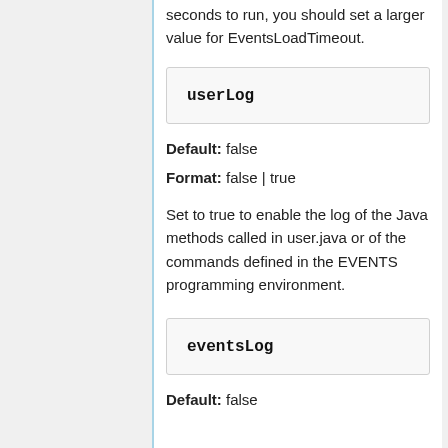seconds to run, you should set a larger value for EventsLoadTimeout.
userLog
Default: false
Format: false | true
Set to true to enable the log of the Java methods called in user.java or of the commands defined in the EVENTS programming environment.
eventsLog
Default: false